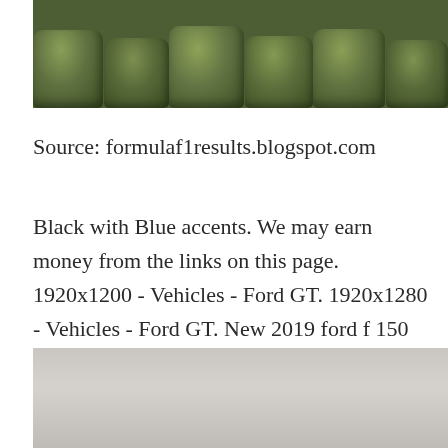[Figure (photo): Photo of trimmed green hedge bushes/topiaries in a row, viewed from close up]
Source: formulaf1results.blogspot.com
Black with Blue accents. We may earn money from the links on this page. 1920x1200 - Vehicles - Ford GT. 1920x1280 - Vehicles - Ford GT. New 2019 ford f 150 truck raptor velocity blue for sale in hawley.
[Figure (photo): Partially visible photo at bottom of page, appears to show hedges or outdoor scene, mostly grey/muted tones]